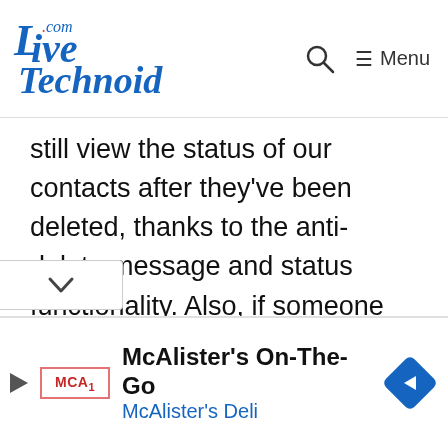LiveTechnoid.com — Menu
still view the status of our contacts after they've been deleted, thanks to the anti-delete message and status functionality. Also, if someone deletes a message, you can see it in the conversation.
[Figure (other): Collapse/chevron button at bottom left]
[Figure (other): Advertisement banner for McAlister's On-The-Go by McAlister's Deli with logo and navigation arrow icon]